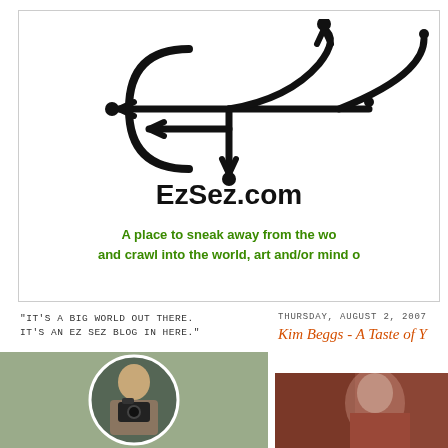[Figure (logo): EzSez.com website logo with USB-like arrows symbol in black]
EzSez.com
A place to sneak away from the wo and crawl into the world, art and/or mind o
"IT'S A BIG WORLD OUT THERE. IT'S AN EZ SEZ BLOG IN HERE."
THURSDAY, AUGUST 2, 2007
Kim Beggs - A Taste of Y
[Figure (photo): Man holding a camera, shown inside a circular frame with green background]
[Figure (photo): Partially visible photo of person against dark reddish-brown background]